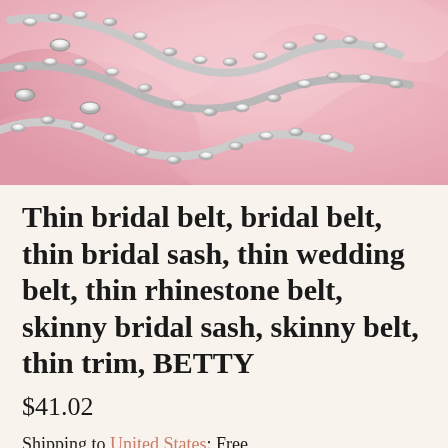[Figure (photo): Close-up photo of thin rhinestone/crystal bridal belts or sashes arranged on pink fabric background. Multiple strands of silver and crystal jeweled belts are visible.]
Thin bridal belt, bridal belt, thin bridal sash, thin wedding belt, thin rhinestone belt, skinny bridal sash, skinny belt, thin trim, BETTY
$41.02
Shipping to United States: Free